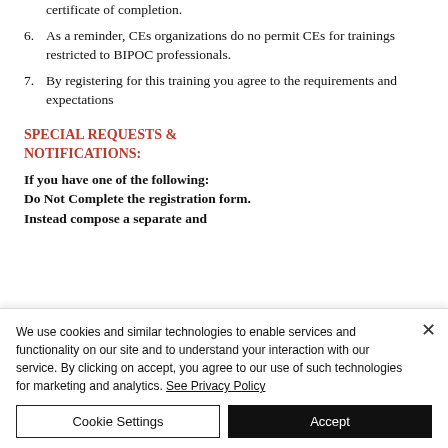certificate of completion.
6. As a reminder, CEs organizations do no permit CEs for trainings restricted to BIPOC professionals.
7. By registering for this training you agree to the requirements and expectations
SPECIAL REQUESTS & NOTIFICATIONS:
If you have one of the following: Do Not Complete the registration form. Instead compose a separate and
We use cookies and similar technologies to enable services and functionality on our site and to understand your interaction with our service. By clicking on accept, you agree to our use of such technologies for marketing and analytics. See Privacy Policy
Cookie Settings
Accept